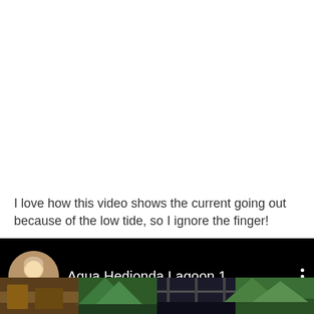I love how this video shows the current going out because of the low tide, so I ignore the finger!
[Figure (screenshot): Video player bar showing a circular avatar of a woman with blonde hair on a black background, the title 'Agua Hedionda Lagoon 1' in white text, a three-dot menu icon, and thumbnail images of nature scenes at the bottom.]